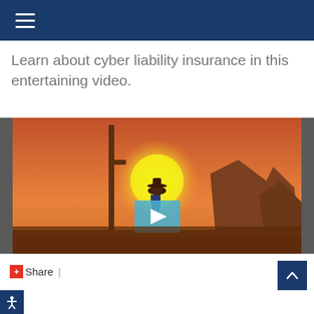Navigation menu header bar
Learn about cyber liability insurance in this entertaining video.
[Figure (screenshot): Video thumbnail showing an animated western desert scene at sunset with a cowboy silhouette and a blue play button overlay in the center.]
Share  |